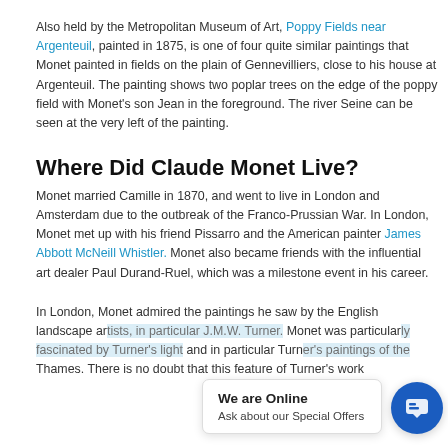Also held by the Metropolitan Museum of Art, Poppy Fields near Argenteuil, painted in 1875, is one of four quite similar paintings that Monet painted in fields on the plain of Gennevilliers, close to his house at Argenteuil. The painting shows two poplar trees on the edge of the poppy field with Monet's son Jean in the foreground. The river Seine can be seen at the very left of the painting.
Where Did Claude Monet Live?
Monet married Camille in 1870, and went to live in London and Amsterdam due to the outbreak of the Franco-Prussian War. In London, Monet met up with his friend Pissarro and the American painter James Abbott McNeill Whistler. Monet also became friends with the influential art dealer Paul Durand-Ruel, which was a milestone event in his career.
In London, Monet admired the paintings he saw by the English landscape ar... and J.M.W. Turner. Monet was particularl... light and in particular Turn... Thames. There is no doubt that this feature of Turner's work
[Figure (other): Live chat widget overlay showing 'We are Online' and 'Ask about our Special Offers' with a blue circular chat icon.]